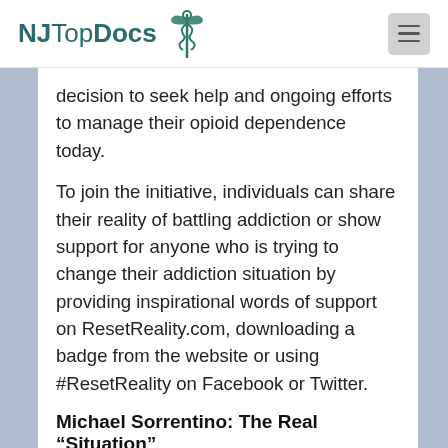NJ Top Docs
decision to seek help and ongoing efforts to manage their opioid dependence today.
To join the initiative, individuals can share their reality of battling addiction or show support for anyone who is trying to change their addiction situation by providing inspirational words of support on ResetReality.com, downloading a badge from the website or using #ResetReality on Facebook or Twitter.
Michael Sorrentino: The Real “Situation”
Michael personally struggled with prescription painkiller addiction until finally seeking help in 2012. He now wants to help motivate other